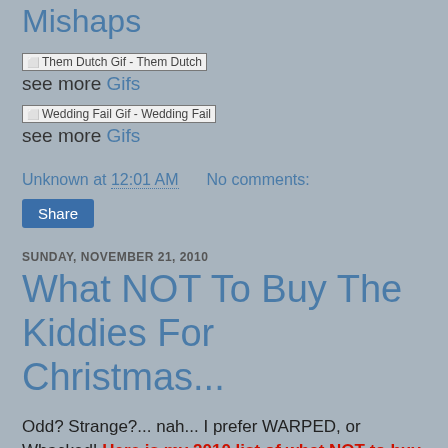Mishaps
[Figure (photo): Broken image placeholder labeled 'Them Dutch Gif - Them Dutch']
see more Gifs
[Figure (photo): Broken image placeholder labeled 'Wedding Fail Gif - Wedding Fail']
see more Gifs
Unknown at 12:01 AM   No comments:
Share
SUNDAY, NOVEMBER 21, 2010
What NOT To Buy The Kiddies For Christmas...
Odd? Strange?... nah... I prefer WARPED, or Whacked! Here is my 2010 list of what NOT to buy for ANYONE this Christmas.  Unless of course, you are trying to create mounds of controversy with your nephew's parents, followed